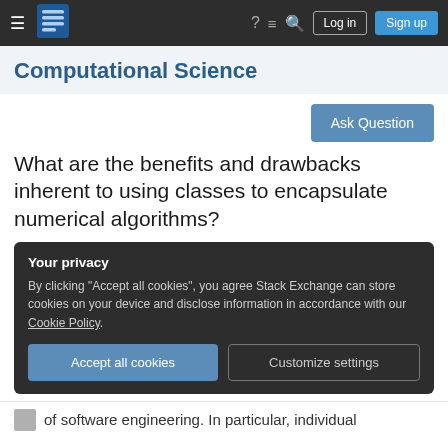Computational Science — Stack Exchange navigation bar
Computational Science
[Figure (screenshot): Ask Question button]
What are the benefits and drawbacks inherent to using classes to encapsulate numerical algorithms?
Your privacy
By clicking "Accept all cookies", you agree Stack Exchange can store cookies on your device and disclose information in accordance with our Cookie Policy.
Accept all cookies   Customize settings
of software engineering. In particular, individual